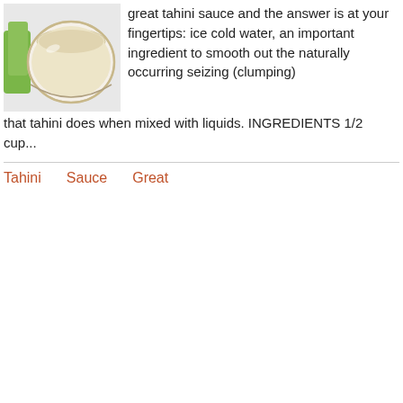[Figure (photo): A bowl of tahini sauce (creamy white/beige liquid in a clear glass bowl) with a green garnish or cloth visible to the left side.]
great tahini sauce and the answer is at your fingertips: ice cold water, an important ingredient to smooth out the naturally occurring seizing (clumping) that tahini does when mixed with liquids. INGREDIENTS 1/2 cup...
Tahini
Sauce
Great